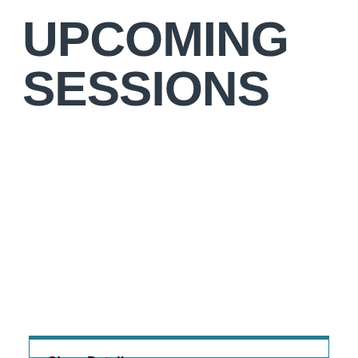UPCOMING SESSIONS
Class Details
Decision Quality: Make the Right Choice Every Time
Strategic Decision and Risk Management
DATE
09/19/22-09/20/22
8:00am to 5:00pm